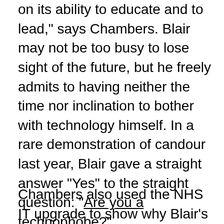on its ability to educate and to lead," says Chambers. Blair may not be too busy to lose sight of the future, but he freely admits to having neither the time nor inclination to bother with technology himself. In a rare demonstration of candour last year, Blair gave a straight answer "Yes" to the straight question: "Are you a technophobe?".
Chambers also used the NHS IT upgrade to show why Blair's government "gets IT". Anyone remotely